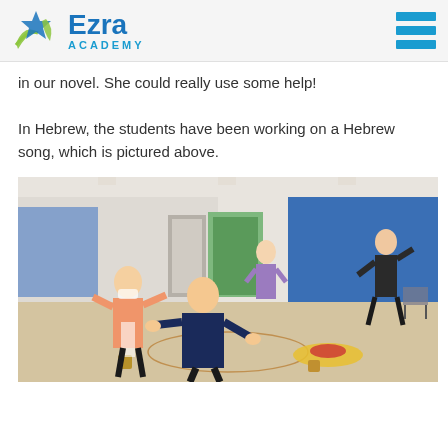Ezra Academy
in our novel. She could really use some help!
In Hebrew, the students have been working on a Hebrew song, which is pictured above.
[Figure (photo): Students and a teacher in a gymnasium performing movements, likely during a Hebrew song activity. Two students in foreground, one student in background, one teacher wearing a mask on the right side.]